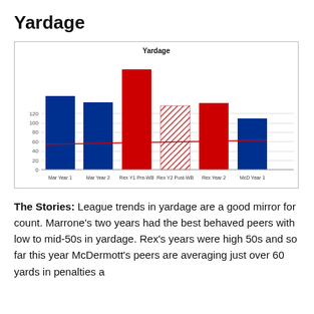Yardage
[Figure (bar-chart): Yardage]
The Stories: League trends in yardage are a good mirror for count. Marrone's two years had the best behaved peers with low to mid-50s in yardage. Rex's years were high 50s and so far this year McDermott's peers are averaging just over 60 yards in penalties a